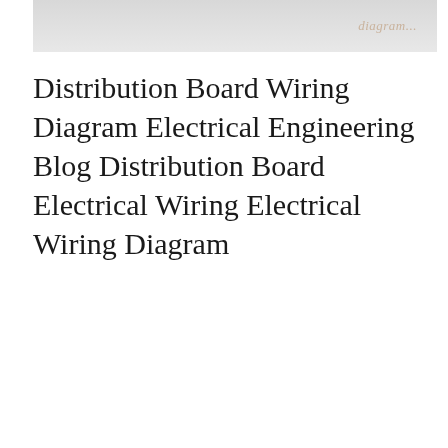[Figure (other): Partially visible image at top of page, appears to be a wiring diagram or related graphic, with a watermark-like text overlay on the right side]
Distribution Board Wiring Diagram Electrical Engineering Blog Distribution Board Electrical Wiring Electrical Wiring Diagram